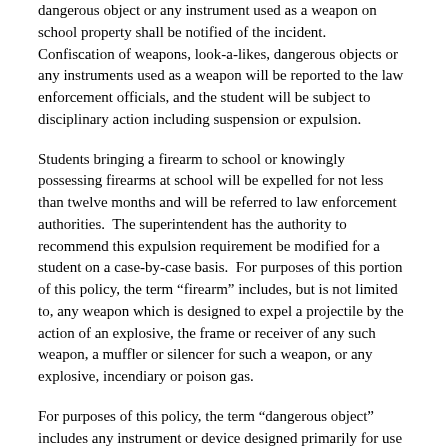dangerous object or any instrument used as a weapon on school property shall be notified of the incident.  Confiscation of weapons, look-a-likes, dangerous objects or any instruments used as a weapon will be reported to the law enforcement officials, and the student will be subject to disciplinary action including suspension or expulsion.
Students bringing a firearm to school or knowingly possessing firearms at school will be expelled for not less than twelve months and will be referred to law enforcement authorities.  The superintendent has the authority to recommend this expulsion requirement be modified for a student on a case-by-case basis.  For purposes of this portion of this policy, the term “firearm” includes, but is not limited to, any weapon which is designed to expel a projectile by the action of an explosive, the frame or receiver of any such weapon, a muffler or silencer for such a weapon, or any explosive, incendiary or poison gas.
For purposes of this policy, the term “dangerous object” includes any instrument or device designed primarily for use in inflicting death or injury upon a human being or animal, and which is capable of inflicting death upon a human being when used in the manner for which it was designed.  The term “dangerous object” also includes any instrument or device or any sort whatsoever which is actually used in such a manner as to indicate that the individual intends to inflict death or injury upon the other, and